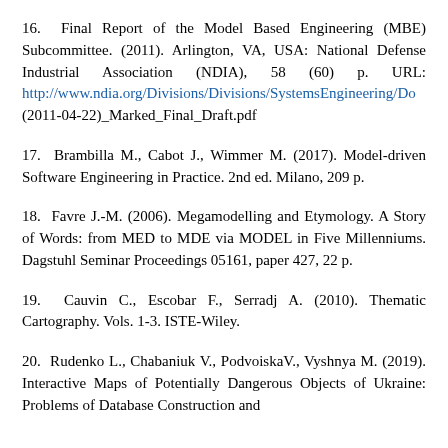16. Final Report of the Model Based Engineering (MBE) Subcommittee. (2011). Arlington, VA, USA: National Defense Industrial Association (NDIA), 58 (60) p. URL: http://www.ndia.org/Divisions/Divisions/SystemsEngineering/Do (2011-04-22)_Marked_Final_Draft.pdf
17. Brambilla M., Cabot J., Wimmer M. (2017). Model-driven Software Engineering in Practice. 2nd ed. Milano, 209 p.
18. Favre J.-M. (2006). Megamodelling and Etymology. A Story of Words: from MED to MDE via MODEL in Five Millenniums. Dagstuhl Seminar Proceedings 05161, paper 427, 22 p.
19. Cauvin C., Escobar F., Serradj A. (2010). Thematic Cartography. Vols. 1-3. ISTE-Wiley.
20. Rudenko L., Chabaniuk V., PodvoiskaV., Vyshnya M. (2019). Interactive Maps of Potentially Dangerous Objects of Ukraine: Problems of Database Construction and